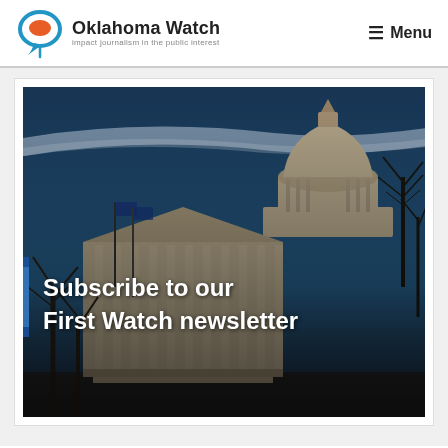Oklahoma Watch — Impact journalism in the public interest | Menu
[Figure (photo): Photo of the Oklahoma State Capitol building at dusk with dark blue sky, featuring the dome and classical columns, with bare trees and flags visible. Text overlay reads 'Subscribe to our First Watch newsletter']
Subscribe to our First Watch newsletter